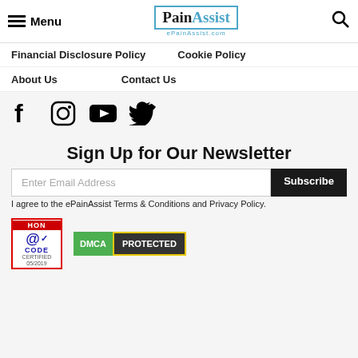[Figure (logo): PainAssist ePainAssist.com logo with blue border]
Financial Disclosure Policy
Cookie Policy
About Us
Contact Us
[Figure (infographic): Social media icons: Facebook, Instagram, YouTube, Twitter]
Sign Up for Our Newsletter
Enter Email Address | Subscribe
I agree to the ePainAssist Terms & Conditions and Privacy Policy.
[Figure (logo): HON code certified badge and DMCA Protected badge]